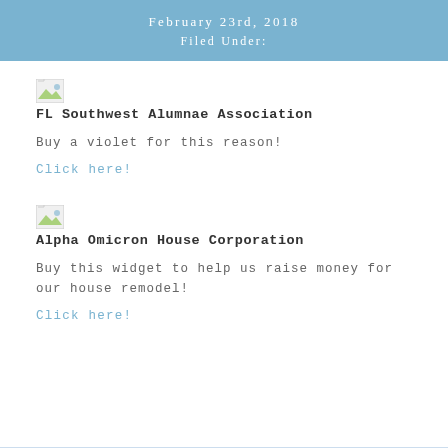February 23rd, 2018
Filed Under:
[Figure (illustration): Small broken/placeholder image icon for FL Southwest Alumnae Association]
FL Southwest Alumnae Association
Buy a violet for this reason!
Click here!
[Figure (illustration): Small broken/placeholder image icon for Alpha Omicron House Corporation]
Alpha Omicron House Corporation
Buy this widget to help us raise money for our house remodel!
Click here!